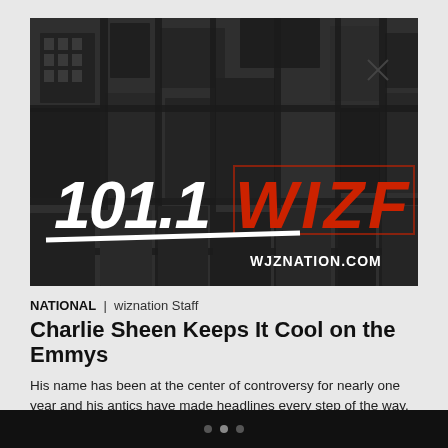[Figure (logo): 101.1 WIZF radio station logo on dark aerial city background with WJZNATION.COM text]
NATIONAL | wiznation Staff
Charlie Sheen Keeps It Cool on the Emmys
His name has been at the center of controversy for nearly one year and his antics have made headlines every step of the way. That's why it was no surprise that maybe Charlie Sheen's either had a change of heart or simply decided to be cool and keep a low radar at the Emmys this […]